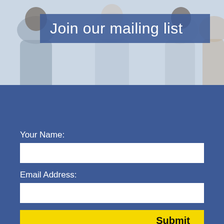[Figure (photo): Blurred background photo of business people in suits having a conversation]
Join our mailing list
Your Name:
Email Address:
Submit